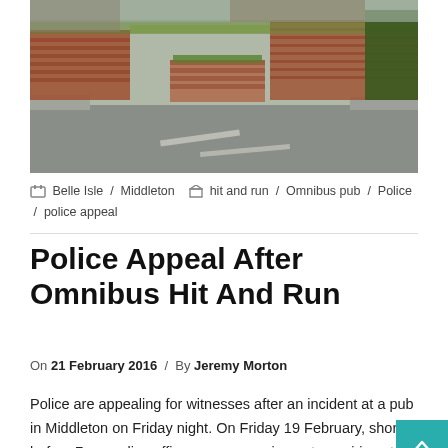[Figure (photo): Street scene showing a road with brick buildings, green hedge, and parked cars in a residential area in Middleton, Leeds.]
Belle Isle / Middleton   hit and run / Omnibus pub / Police / police appeal
Police Appeal After Omnibus Hit And Run
On 21 February 2016  /  By Jeremy Morton
Police are appealing for witnesses after an incident at a pub in Middleton on Friday night. On Friday 19 February, shortly before 7pm, police officers were carrying out enquiries at the Omnibus pub, in Middleton, Leeds. Whilst there, a police officer was deliberately driven at by a Vauxhall Astra, which